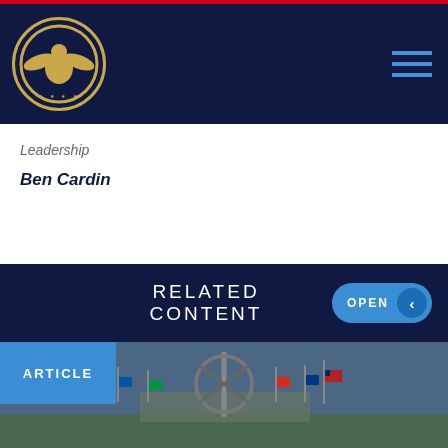[Figure (logo): Commission on Security and Cooperation in Europe (Helsinki Commission) circular emblem with US eagle seal in gold on dark navy background]
Commission on Security and Cooperation in Europe
Leadership
Ben Cardin
RELATED CONTENT
OPEN
[Figure (photo): Photograph of NATO headquarters with NATO star monument and member country flags flying in front of building]